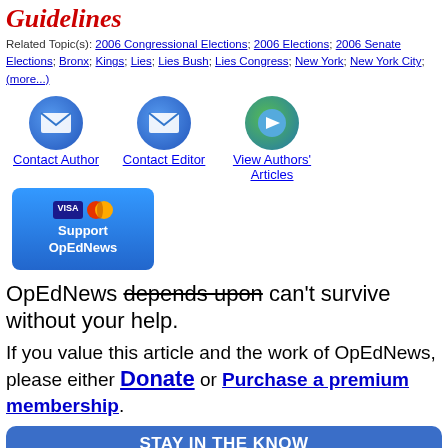Guidelines
Related Topic(s): 2006 Congressional Elections; 2006 Elections; 2006 Senate Elections; Bronx; Kings; Lies; Lies Bush; Lies Congress; New York; New York City; (more...)
[Figure (infographic): Three circular icon buttons: Contact Author (email icon), Contact Editor (email icon), View Authors' Articles (forward arrow icon)]
[Figure (infographic): Blue rounded rectangle button with Visa and Mastercard logos reading 'Support OpEdNews']
OpEdNews depends upon can't survive without your help.
If you value this article and the work of OpEdNews, please either Donate or Purchase a premium membership.
STAY IN THE KNOW
If you've enjoyed this, sign up for our daily or weekly newsletter to get lots of great progressive content.
Daily  Weekly  OpEd News Newsletter
Enter Your Name